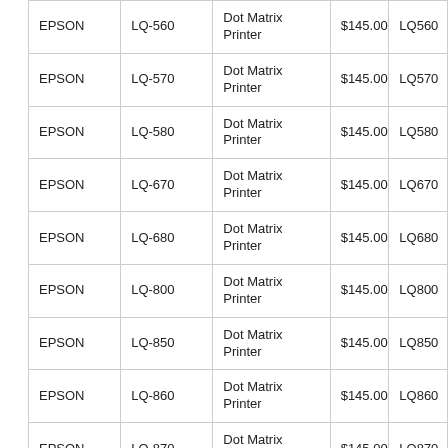| EPSON | LQ-560 | Dot Matrix Printer | $145.00 | LQ560 |
| EPSON | LQ-570 | Dot Matrix Printer | $145.00 | LQ570 |
| EPSON | LQ-580 | Dot Matrix Printer | $145.00 | LQ580 |
| EPSON | LQ-670 | Dot Matrix Printer | $145.00 | LQ670 |
| EPSON | LQ-680 | Dot Matrix Printer | $145.00 | LQ680 |
| EPSON | LQ-800 | Dot Matrix Printer | $145.00 | LQ800 |
| EPSON | LQ-850 | Dot Matrix Printer | $145.00 | LQ850 |
| EPSON | LQ-860 | Dot Matrix Printer | $145.00 | LQ860 |
| EPSON | LQ-870 | Dot Matrix Printer | $145.00 | LQ870 |
| EPSON | LQ-2500+,2250 | Dot Matrix Printer | $165.00 | LQ2500 |
| EPSON | LQ-950 | Dot Matrix Printer | $145.00 | LQ950 |
| EPSON | LX-100 | Dot Matrix Printer | $135.00 | LX100 |